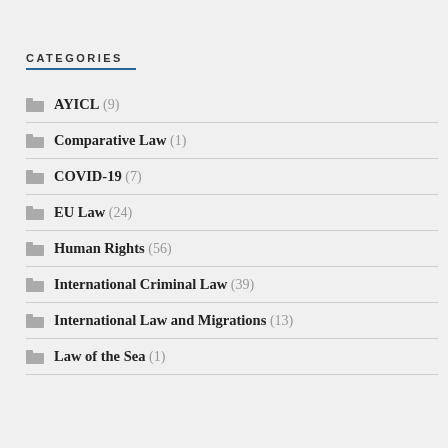CATEGORIES
AYICL (9)
Comparative Law (1)
COVID-19 (7)
EU Law (24)
Human Rights (56)
International Criminal Law (39)
International Law and Migrations (13)
Law of the Sea (1)